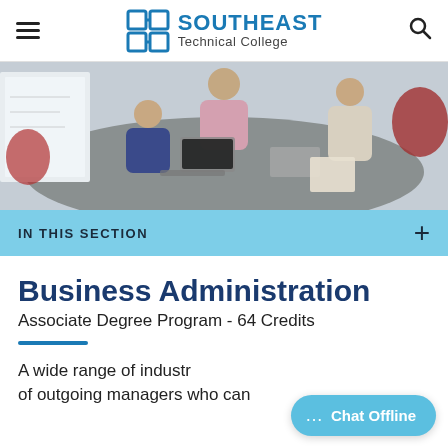Southeast Technical College
[Figure (photo): Business meeting scene with people around a table with laptops and notebooks, whiteboard in background]
IN THIS SECTION
Business Administration
Associate Degree Program - 64 Credits
A wide range of industr... of outgoing managers who can